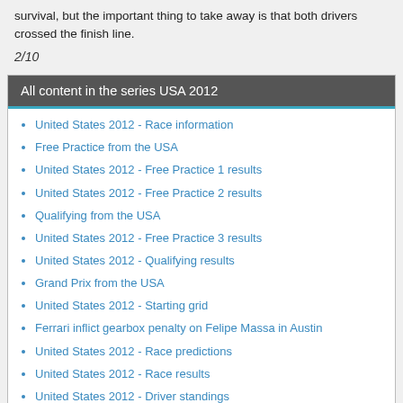survival, but the important thing to take away is that both drivers crossed the finish line.
2/10
All content in the series USA 2012
United States 2012 - Race information
Free Practice from the USA
United States 2012 - Free Practice 1 results
United States 2012 - Free Practice 2 results
Qualifying from the USA
United States 2012 - Free Practice 3 results
United States 2012 - Qualifying results
Grand Prix from the USA
United States 2012 - Starting grid
Ferrari inflict gearbox penalty on Felipe Massa in Austin
United States 2012 - Race predictions
United States 2012 - Race results
United States 2012 - Driver standings
United States 2012 - Team standings
United States 2012 - Rate the race
United States 2012 - McLaren topple Red Bull to triumph in